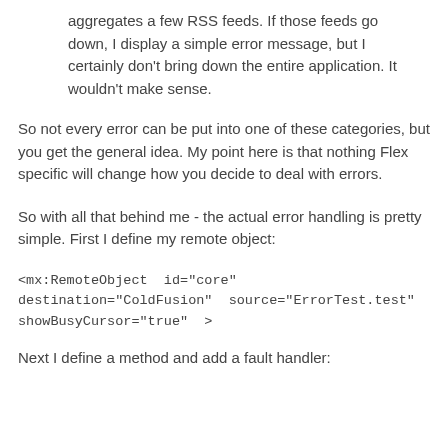aggregates a few RSS feeds. If those feeds go down, I display a simple error message, but I certainly don't bring down the entire application. It wouldn't make sense.
So not every error can be put into one of these categories, but you get the general idea. My point here is that nothing Flex specific will change how you decide to deal with errors.
So with all that behind me - the actual error handling is pretty simple. First I define my remote object:
<mx:RemoteObject  id="core"
destination="ColdFusion"  source="ErrorTest.test"
showBusyCursor="true"  >
Next I define a method and add a fault handler: